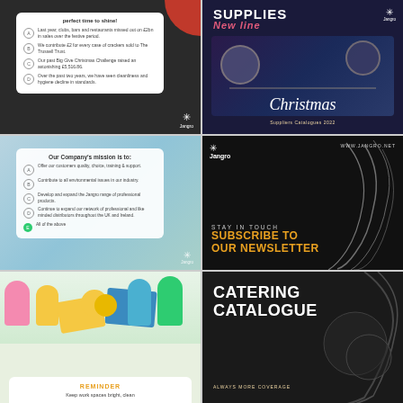[Figure (photo): Jangro branded promotional image with Christmas quiz on dark background, white card with lettered options A-D, Jangro logo bottom right, red decorative corner top right]
[Figure (photo): Jangro Christmas Supplies Catalogue 2022 cover image with dark navy background, 'SUPPLIES New line' text top left, 'Christmas' script text, Jangro logo]
[Figure (photo): Jangro company mission promotional image with blue/teal background showing cleaning equipment, white card overlay with mission statement options A-E (E highlighted in green)]
[Figure (photo): Jangro newsletter subscription promotional image on black background with fork/ribbon decoration, 'STAY IN TOUCH SUBSCRIBE TO OUR NEWSLETTER' text in orange, website URL www.jangro.net]
[Figure (photo): Jangro reminder promotional image with colorful rubber gloves and cleaning cloths, white card overlay with 'REMINDER - Keep work spaces bright, clean' text]
[Figure (photo): Jangro Catering Catalogue promotional image on dark background with ribbon/smoke decoration, bold white 'CATERING CATALOGUE' text]